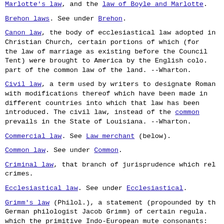Marlotte's law, and the law of Boyle and Marlotte.
Brehon laws. See under Brehon.
Canon law, the body of ecclesiastical law adopted in the Christian Church, certain portions of which (for example, the law of marriage as existing before the Council of Trent) were brought to America by the English colonies as part of the common law of the land. --Wharton.
Civil law, a term used by writers to designate Roman law, with modifications thereof which have been made in the different countries into which that law has been introduced. The civil law, instead of the common law, prevails in the State of Louisiana. --Wharton.
Commercial law. See Law merchant (below).
Common law. See under Common.
Criminal law, that branch of jurisprudence which relates to crimes.
Ecclesiastical law. See under Ecclesiastical.
Grimm's law (Philol.), a statement (propounded by the German philologist Jacob Grimm) of certain regularities by which the primitive Indo-European mute consonants, so-called (most plainly seen in Sanskrit and, with some changes, in Greek and Latin), have undergone in the Teutonic languages. [continued]